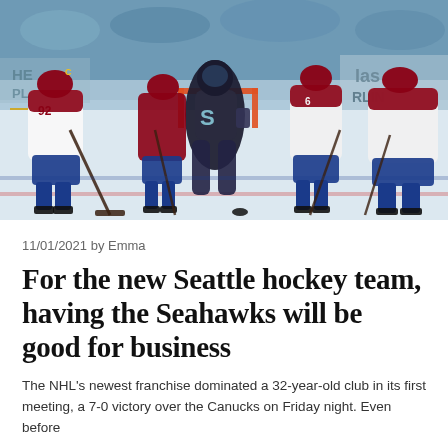[Figure (photo): Hockey players on ice rink — Colorado Avalanche players in burgundy/white jerseys and a Seattle Kraken goalie in black/teal gear. Player #92 visible on left. Players gathered near goal. Arena boards with partial signage visible in background.]
11/01/2021 by Emma
For the new Seattle hockey team, having the Seahawks will be good for business
The NHL's newest franchise dominated a 32-year-old club in its first meeting, a 7-0 victory over the Canucks on Friday night. Even before